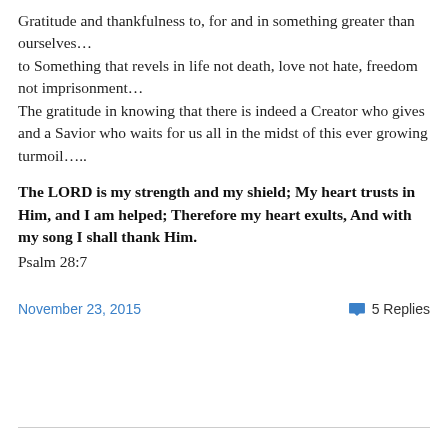Gratitude and thankfulness to, for and in something greater than ourselves…
to Something that revels in life not death, love not hate, freedom not imprisonment…
The gratitude in knowing that there is indeed a Creator who gives and a Savior who waits for us all in the midst of this ever growing turmoil…..
The LORD is my strength and my shield; My heart trusts in Him, and I am helped; Therefore my heart exults, And with my song I shall thank Him.
Psalm 28:7
November 23, 2015
5 Replies